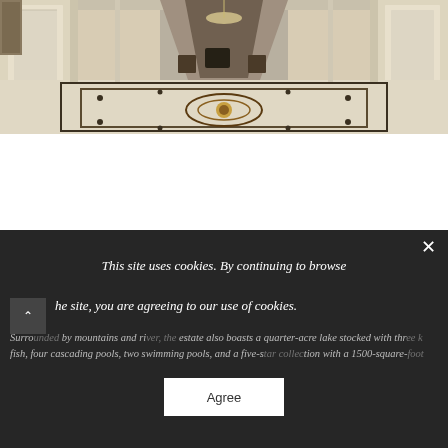[Figure (photo): Interior photo of a luxury hotel lobby with ornate marble floor featuring decorative inlay pattern, cream-colored paneled walls, and a long corridor with chandelier lighting in the background.]
This site uses cookies. By continuing to browse the site, you are agreeing to our use of cookies.
Surrounded by mountains and river, the estate also boasts a quarter-acre lake stocked with three kinds of fish, four cascading pools, two swimming pools, and a five-star collection with a 1500-square-foot
Agree